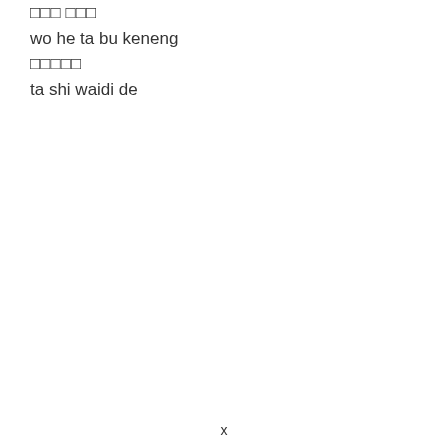□□□ □□□
wo he ta bu keneng
□□□□□
ta shi waidi de
x